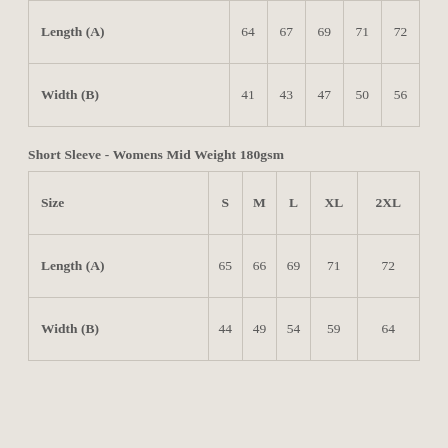|  |  |  |  |  |  |
| --- | --- | --- | --- | --- | --- |
| Length (A) | 64 | 67 | 69 | 71 | 72 |
| Width (B) | 41 | 43 | 47 | 50 | 56 |
Short Sleeve - Womens Mid Weight 180gsm
| Size | S | M | L | XL | 2XL |
| --- | --- | --- | --- | --- | --- |
| Length (A) | 65 | 66 | 69 | 71 | 72 |
| Width (B) | 44 | 49 | 54 | 59 | 64 |